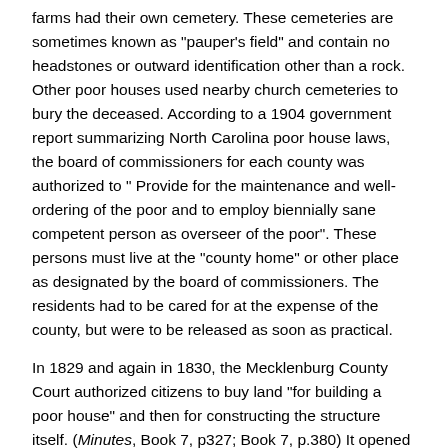farms had their own cemetery. These cemeteries are sometimes known as "pauper's field" and contain no headstones or outward identification other than a rock. Other poor houses used nearby church cemeteries to bury the deceased. According to a 1904 government report summarizing North Carolina poor house laws, the board of commissioners for each county was authorized to " Provide for the maintenance and well-ordering of the poor and to employ biennially sane competent person as overseer of the poor". These persons must live at the "county home" or other place as designated by the board of commissioners. The residents had to be cared for at the expense of the county, but were to be released as soon as practical.
In 1829 and again in 1830, the Mecklenburg County Court authorized citizens to buy land "for building a poor house" and then for constructing the structure itself. (Minutes, Book 7, p327; Book 7, p.380) It opened in February of 1833, as this job announcment for a steward shows. (Miners' and Farmers' Journal, January 26, 1833, p.3) The announcement also stated that the Poor House would be located "2 1/2 miles